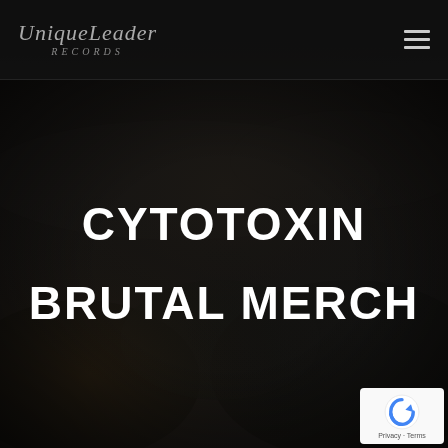[Figure (logo): Unique Leader Records logo in italic script font, dark grey color]
[Figure (illustration): Hamburger/menu icon with three horizontal lines, top right of header]
[Figure (photo): Dark moody landscape background covering the main content area, very dark tones]
CYTOTOXIN
BRUTAL MERCH
[Figure (other): reCAPTCHA widget badge in bottom-right corner showing Google reCAPTCHA logo with Privacy and Terms links]